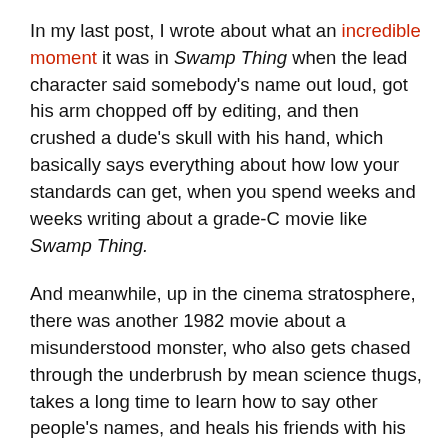In my last post, I wrote about what an incredible moment it was in Swamp Thing when the lead character said somebody's name out loud, got his arm chopped off by editing, and then crushed a dude's skull with his hand, which basically says everything about how low your standards can get, when you spend weeks and weeks writing about a grade-C movie like Swamp Thing.
And meanwhile, up in the cinema stratosphere, there was another 1982 movie about a misunderstood monster, who also gets chased through the underbrush by mean science thugs, takes a long time to learn how to say other people's names, and heals his friends with his magical glowing fingers.
That film was E.T. the Extra-Terrestrial, the simple story of a friendship between a boy and a telepathic mad-science space botanist, and it made more money than any other